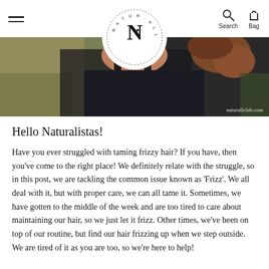NATUR'ALL — naturallclub.com
[Figure (photo): Close-up photo of a person wearing a dark top with curly hair, outdoors with blurred greenery background. Watermark reads naturallclub.com]
Hello Naturalistas!
Have you ever struggled with taming frizzy hair? If you have, then you've come to the right place! We definitely relate with the struggle, so in this post, we are tackling the common issue known as 'Frizz'. We all deal with it, but with proper care, we can all tame it. Sometimes, we have gotten to the middle of the week and are too tired to care about maintaining our hair, so we just let it frizz. Other times, we've been on top of our routine, but find our hair frizzing up when we step outside. We are tired of it as you are too, so we're here to help!